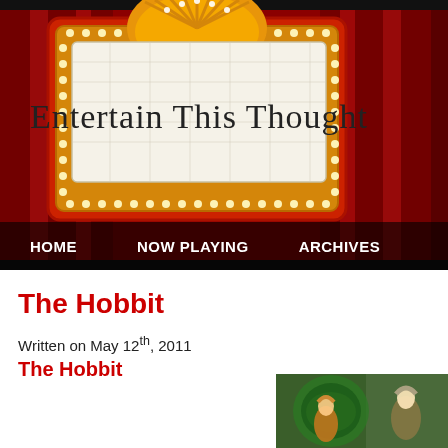[Figure (illustration): Theater marquee sign reading 'Entertain This Thought' on a red curtain background with decorative gold marquee lighting]
HOME   NOW PLAYING   ARCHIVES
The Hobbit
Written on May 12th, 2011
The Hobbit
[Figure (photo): Photo of theatrical performance of The Hobbit showing costumed actors]